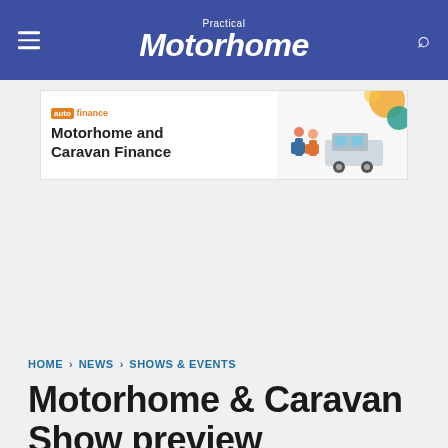Practical Motorhome
[Figure (infographic): Advertisement banner for auto finance showing motorhome and caravan finance with illustrated people and a motorhome graphic. Text reads: Motorhome and Caravan Finance]
HOME › NEWS › SHOWS & EVENTS
Motorhome & Caravan Show preview